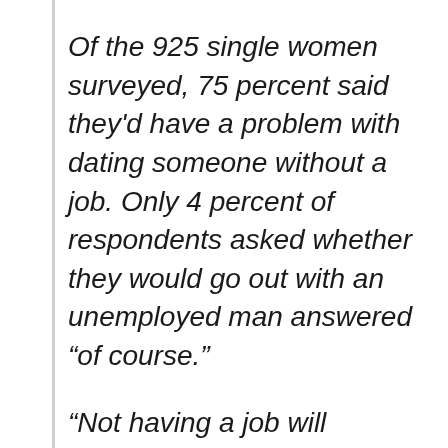Of the 925 single women surveyed, 75 percent said they'd have a problem with dating someone without a job. Only 4 percent of respondents asked whether they would go out with an unemployed man answered “of course.”
“Not having a job will definitely make it harder for men to date someone they don’t already know,” Irene LaCota, a spokesperson for It’s Just Lunch